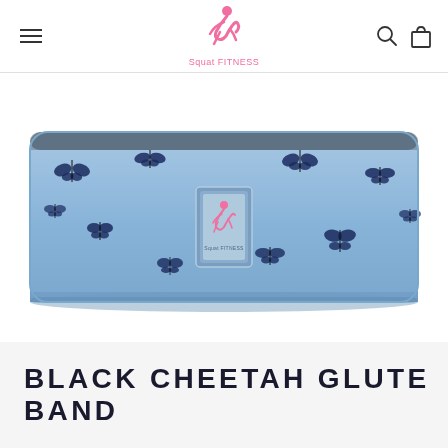Squat Fitness — navigation header with logo, menu, search, and cart icons
[Figure (photo): Light blue fabric glute resistance band with dark navy butterfly pattern printed all over. A small rectangular label with a figure squatting is sewn onto the band. The band is photographed on a white background, showing its wide, flat form.]
BLACK CHEETAH GLUTE BAND